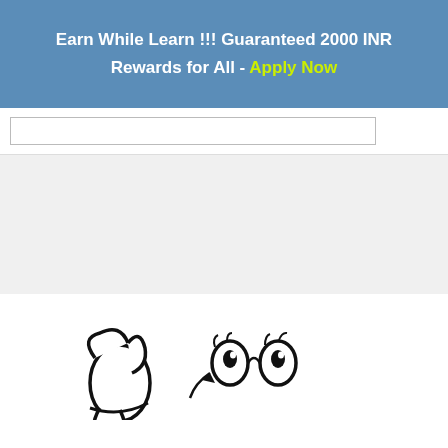Earn While Learn !!! Guaranteed 2000 INR Rewards for All - Apply Now
[Figure (illustration): Cartoon doodle hands pointing downward with eyes]
[Figure (infographic): Telegram app promotional banner with paper plane icon and text 'Want Job Alerts?' in yellow on blue background]